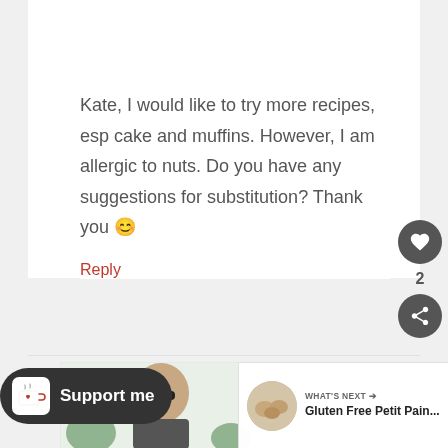[Figure (illustration): Cartoon avatar with purple hair and pink legs on a white background]
Kate, I would like to try more recipes, esp cake and muffins. However, I am allergic to nuts. Do you have any suggestions for substitution? Thank you 😊
Reply
[Figure (other): Like/heart button (dark circle with heart icon), count of 2, share button (dark circle with share icon)]
[Figure (photo): Partial photo of a person wearing sunglasses outdoors]
[Figure (other): WHAT'S NEXT arrow label with thumbnail and text: Gluten Free Petit Pain...]
[Figure (logo): Support me button with Ko-fi cup icon on dark rounded badge]